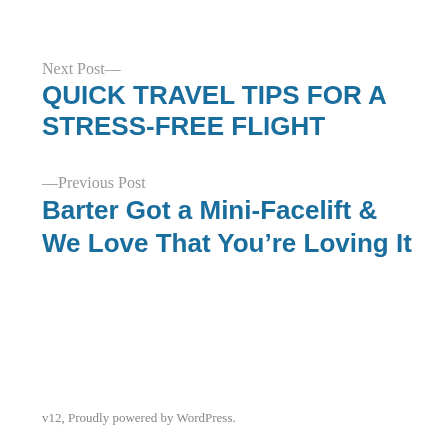Next Post—
QUICK TRAVEL TIPS FOR A STRESS-FREE FLIGHT
—Previous Post
Barter Got a Mini-Facelift & We Love That You're Loving It
v12, Proudly powered by WordPress.